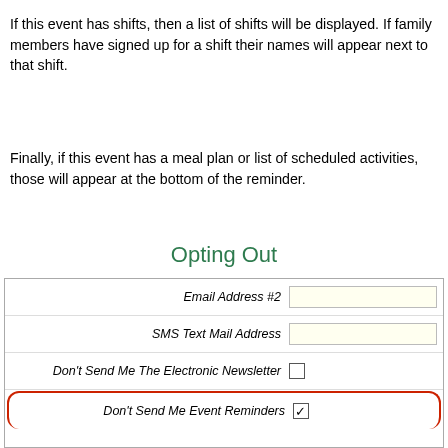If this event has shifts, then a list of shifts will be displayed.  If family members have signed up for a shift their names will appear next to that shift.
Finally, if this event has a meal plan or list of scheduled activities, those will appear at the bottom of the reminder.
Opting Out
[Figure (screenshot): Form section showing fields: Email Address #2 (text input), SMS Text Mail Address (text input), Don't Send Me The Electronic Newsletter (checkbox, unchecked), Don't Send Me Event Reminders (checkbox, checked, highlighted with red rounded border)]